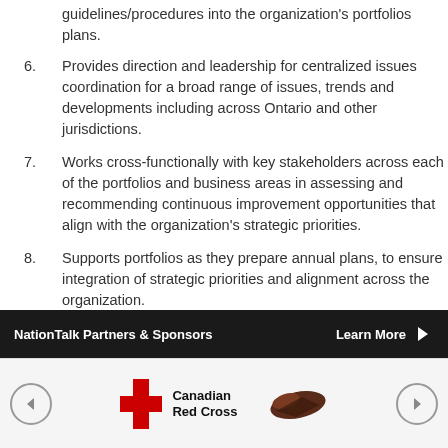guidelines/procedures into the organization's portfolios plans.
6. Provides direction and leadership for centralized issues coordination for a broad range of issues, trends and developments including across Ontario and other jurisdictions.
7. Works cross-functionally with key stakeholders across each of the portfolios and business areas in assessing and recommending continuous improvement opportunities that align with the organization's strategic priorities.
8. Supports portfolios as they prepare annual plans, to ensure integration of strategic priorities and alignment across the organization.
9. Cultivates strong relationships across the ONWA and with external partners to maintain and advance identified priorities and key initiatives.
10. Represents the organization by leading and/or participating on special projects, task forces, program forums and working groups internally and…
NationTalk Partners & Sponsors    Learn More →
[Figure (logo): Canadian Red Cross logo with red cross symbol and organization name, flanked by navigation arrows and a partial second sponsor logo]